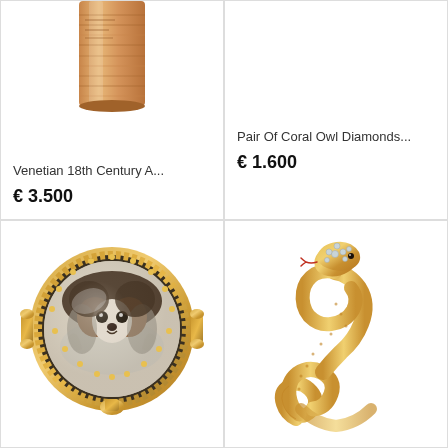[Figure (photo): Venetian 18th century antique item, partial view of a cylindrical amber/stone object]
Venetian 18th Century A...
€ 3.500
[Figure (photo): Pair of Coral Owl Diamond jewelry pieces, no image shown]
Pair Of Coral Owl Diamonds...
€ 1.600
[Figure (photo): Gold brooch/locket with a miniature painting of a dog (Pekingese or similar breed) under glass, with decorative gold beaded border]
[Figure (photo): Gold snake ring, coiled serpent design with diamond-set head, textured gold body]